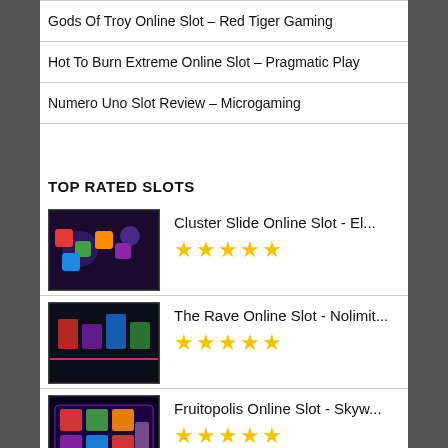Gods Of Troy Online Slot – Red Tiger Gaming
Hot To Burn Extreme Online Slot – Pragmatic Play
Numero Uno Slot Review – Microgaming
TOP RATED SLOTS
Cluster Slide Online Slot - El...  ★★★★★
The Rave Online Slot - Nolimit...  ★★★★★
Fruitopolis Online Slot - Skyw...  ★★★★★
Stumpy McDoodles 2 Online Slot...  ★★★★★